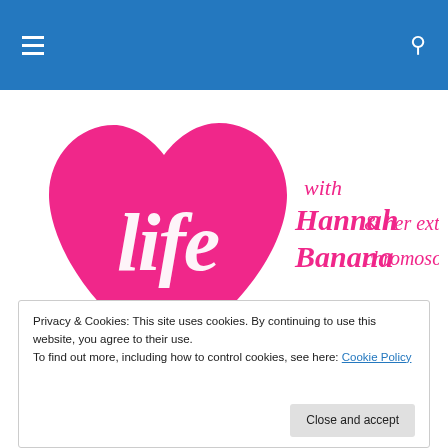Navigation bar with hamburger menu and search icon
[Figure (logo): Logo for 'Life with Hannah Banana & her extra chromosome' — pink heart shape with cursive 'life' text inside, and pink script text to the right]
Privacy & Cookies: This site uses cookies. By continuing to use this website, you agree to their use.
To find out more, including how to control cookies, see here: Cookie Policy
Close and accept